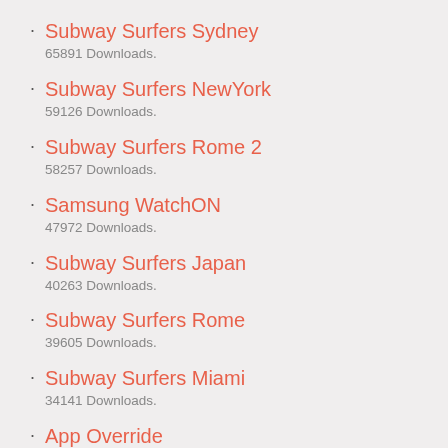Subway Surfers Sydney
65891 Downloads.
Subway Surfers NewYork
59126 Downloads.
Subway Surfers Rome 2
58257 Downloads.
Samsung WatchON
47972 Downloads.
Subway Surfers Japan
40263 Downloads.
Subway Surfers Rome
39605 Downloads.
Subway Surfers Miami
34141 Downloads.
App Override
34050 Downloads.